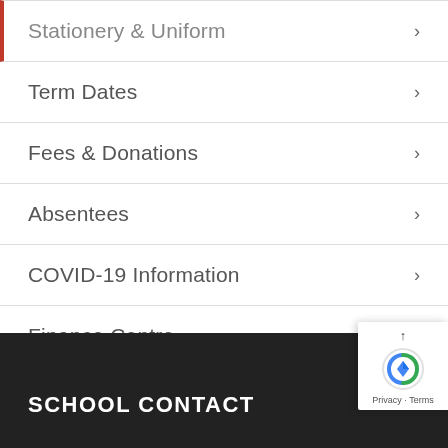Stationery & Uniform
Term Dates
Fees & Donations
Absentees
COVID-19 Information
Finance Centre
SCHOOL CONTACT